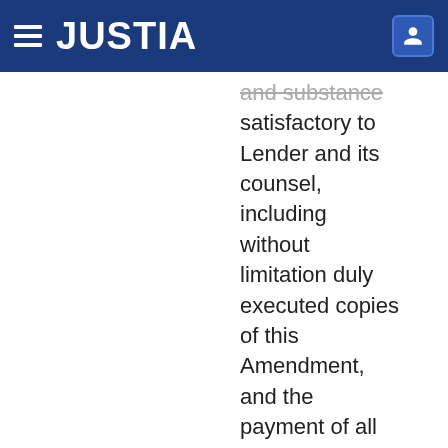JUSTIA
and substance satisfactory to Lender and its counsel, including without limitation duly executed copies of this Amendment, and the payment of all fees and expenses pursuant to Section 5.9 of this